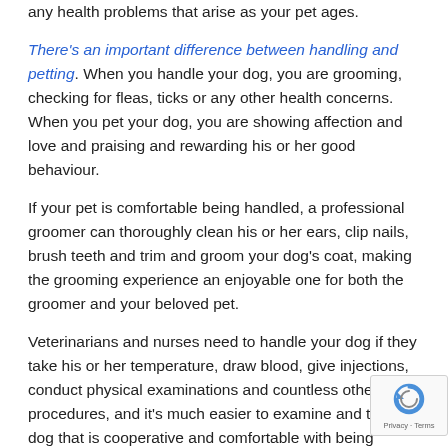any health problems that arise as your pet ages.
There's an important difference between handling and petting. When you handle your dog, you are grooming, checking for fleas, ticks or any other health concerns. When you pet your dog, you are showing affection and love and praising and rewarding his or her good behaviour.
If your pet is comfortable being handled, a professional groomer can thoroughly clean his or her ears, clip nails, brush teeth and trim and groom your dog's coat, making the grooming experience an enjoyable one for both the groomer and your beloved pet.
Veterinarians and nurses need to handle your dog if they take his or her temperature, draw blood, give injections, conduct physical examinations and countless other procedures, and it's much easier to examine and treat a dog that is cooperative and comfortable with being
[Figure (other): reCAPTCHA badge with circular arrow icon and Privacy - Terms text]